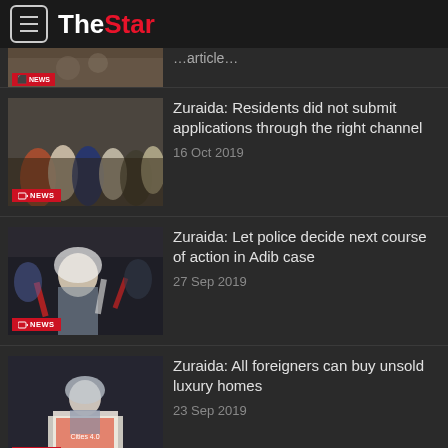The Star
[Figure (screenshot): Partial news thumbnail with NEWS badge — partially visible]
Zuraida: Residents did not submit applications through the right channel — 16 Oct 2019
Zuraida: Let police decide next course of action in Adib case — 27 Sep 2019
Zuraida: All foreigners can buy unsold luxury homes — 23 Sep 2019
Ministry launches guidebook on development of smart cities